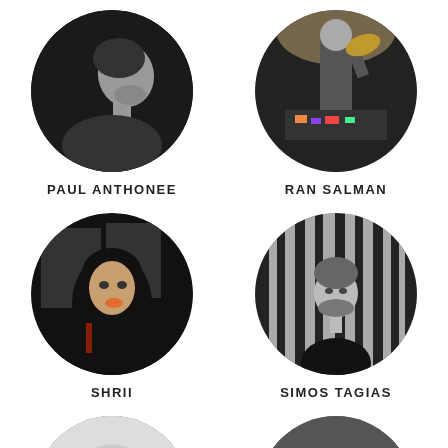[Figure (photo): Circular portrait photo of Paul Anthonee, a man in profile against a dark background]
PAUL ANTHONEE
[Figure (photo): Circular portrait photo of Ran Salman, a person at DJ equipment holding a record/cymbal with stage lighting]
RAN SALMAN
[Figure (photo): Circular portrait photo of Shrii, a woman with long dark hair and orange lighting, wearing black]
SHRII
[Figure (photo): Circular portrait photo of Simos Tagias, a man behind vertical bars/blinds in black and white]
SIMOS TAGIAS
[Figure (photo): Circular portrait photo of a man with glasses (partially cropped at bottom of page)]
[Figure (photo): Circular portrait photo of a person with dark hair (partially cropped at bottom of page)]